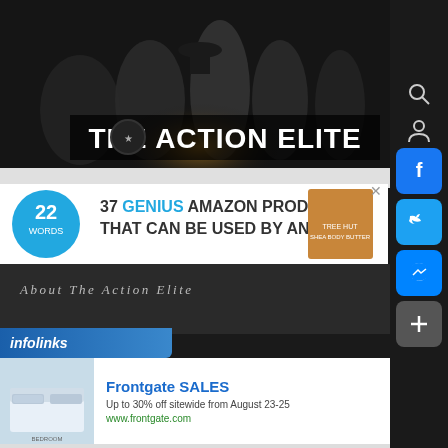[Figure (screenshot): The Action Elite website header banner showing movie cast in black and white with 'THE ACTION ELITE' text overlay]
[Figure (screenshot): Social media sidebar icons: Facebook (blue), Twitter (blue), Messenger (blue), share/plus (gray)]
[Figure (screenshot): Advertisement banner: 22 Words - 37 GENIUS AMAZON PRODUCTS THAT CAN BE USED BY ANYONE]
About The Action Elite
[Figure (screenshot): Infolinks advertisement bar]
[Figure (screenshot): Frontgate SALES advertisement - Up to 30% off sitewide from August 23-25, www.frontgate.com]